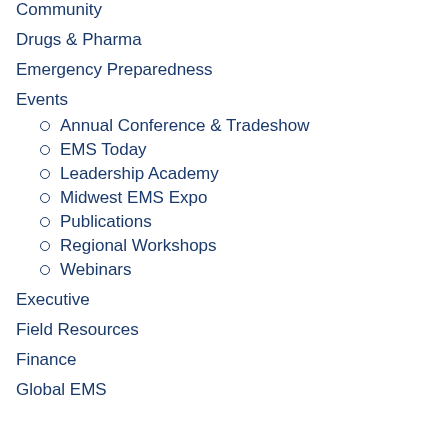Community
Drugs & Pharma
Emergency Preparedness
Events
Annual Conference & Tradeshow
EMS Today
Leadership Academy
Midwest EMS Expo
Publications
Regional Workshops
Webinars
Executive
Field Resources
Finance
Global EMS